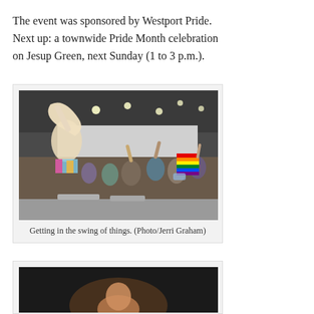The event was sponsored by Westport Pride. Next up: a townwide Pride Month celebration on Jesup Green, next Sunday (1 to 3 p.m.).
[Figure (photo): A performer with long blonde hair striking a pose with arm raised, wearing a colorful outfit, with a crowd of people in the background, some holding a rainbow Pride flag, in an indoor event space.]
Getting in the swing of things. (Photo/Jerri Graham)
[Figure (photo): Partial view of a person, cropped at the bottom of the page, against a dark background.]